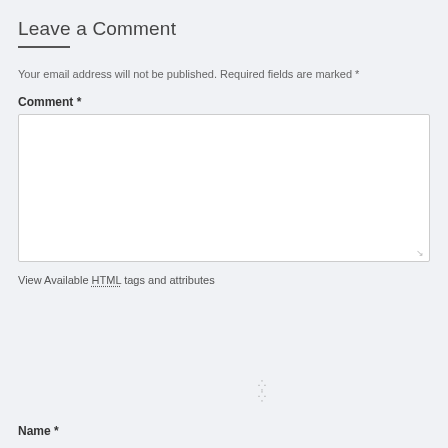Leave a Comment
Your email address will not be published. Required fields are marked *
Comment *
View Available HTML tags and attributes
Name *